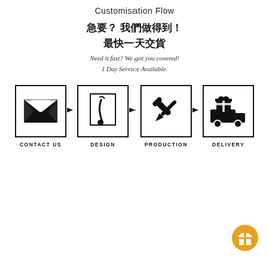Customisation Flow
急要？我們做得到！
最快一天交貨
Need it fast? We got you covered!
1 Day Service Available.
[Figure (flowchart): Four-step customisation flow with icons for Contact Us, Design, Production, and Delivery, connected by arrows.]